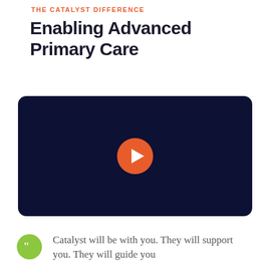THE CATALYST DIFFERENCE
Enabling Advanced Primary Care
[Figure (screenshot): Dark navy video player with orange play button in center]
Catalyst will be with you. They will support you. They will guide you